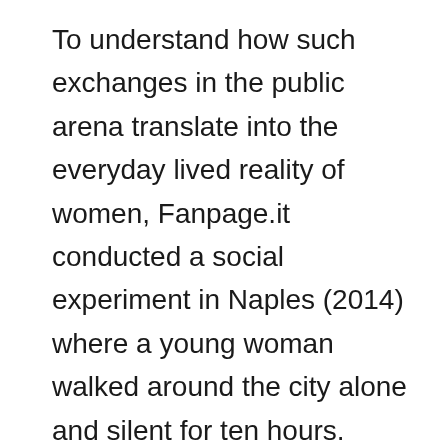To understand how such exchanges in the public arena translate into the everyday lived reality of women, Fanpage.it conducted a social experiment in Naples (2014) where a young woman walked around the city alone and silent for ten hours. During these ten hours she was subjected to forty different types of assaults (kisses, propositions, catcalling, denigrating names, and physical approaches). What this demonstrates is that there is a feedback loop between the macro and micro (Nisbett and Cohen 1996) in which the actions that take place in the public arena condition the treatment of women in the